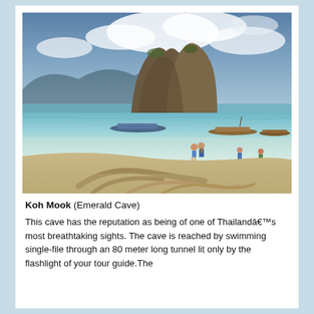[Figure (photo): A tropical beach scene with clear turquoise shallow water, a sandy beach with driftwood in the foreground, tourists wading in the water, traditional longtail boats anchored near a dramatic twin-peaked limestone karst island, with mountains visible in the background under a partly cloudy sky.]
Koh Mook (Emerald Cave)
This cave has the reputation as being of one of Thailandâ€™s most breathtaking sights. The cave is reached by swimming single-file through an 80 meter long tunnel lit only by the flashlight of your tour guide.The